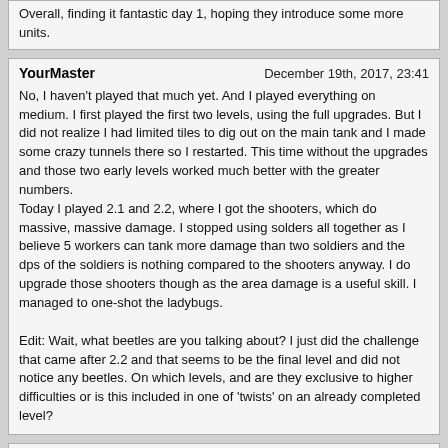Overall, finding it fantastic day 1, hoping they introduce some more units.
YourMaster
December 19th, 2017, 23:41
No, I haven't played that much yet. And I played everything on medium. I first played the first two levels, using the full upgrades. But I did not realize I had limited tiles to dig out on the main tank and I made some crazy tunnels there so I restarted. This time without the upgrades and those two early levels worked much better with the greater numbers.
Today I played 2.1 and 2.2, where I got the shooters, which do massive, massive damage. I stopped using solders all together as I believe 5 workers can tank more damage than two soldiers and the dps of the soldiers is nothing compared to the shooters anyway. I do upgrade those shooters though as the area damage is a useful skill. I managed to one-shot the ladybugs.

Edit: Wait, what beetles are you talking about? I just did the challenge that came after 2.2 and that seems to be the final level and did not notice any beetles. On which levels, and are they exclusive to higher difficulties or is this included in one of 'twists' on an already completed level?
DBlac
December 20th, 2017, 00:35
No, I haven't played that much yet. And I played everything on medium. I first played the first two levels, using the full upgrades. But I did not realize I had limited tiles to dig out on the main tank and I made some crazy tunnels there so I restarted. This time without the upgrades and those two early levels worked much better with the greater numbers.
Today I played 2.1 and 2.2, where I got the shooters, which do massive, massive damage. I stopped using solders all together as I believe 5 workers can tank more damage than two soldiers and the dps of the soldiers is nothing compared to the shooters anyway. I do upgrade those shooters though as the area damage is a useful skill. I managed to one-shot the ladybugs.

Edit: Wait, what beetles are you talking about? I just did the challenge that came after 2.2 and that seems to be the final level and did not notice any beetles. On which levels, and are they exclusive to higher difficulties or is this